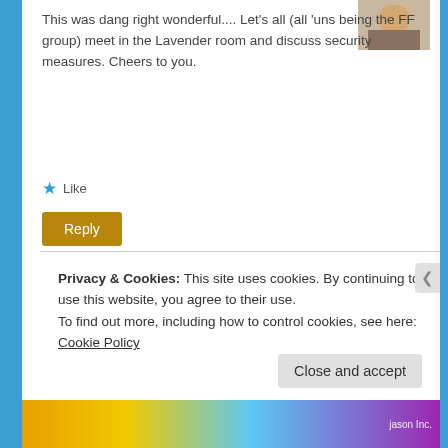This was dang right wonderful.... Let's all (all 'uns being the FF group) meet in the Lavender room and discuss security measures. Cheers to you.
★ Like
Reply
rgayer55
October 3, 2014
[Figure (photo): Profile photo of a man in formal wear]
Amen, sister. Colby has a lot of
Privacy & Cookies: This site uses cookies. By continuing to use this website, you agree to their use.
To find out more, including how to control cookies, see here: Cookie Policy
Close and accept